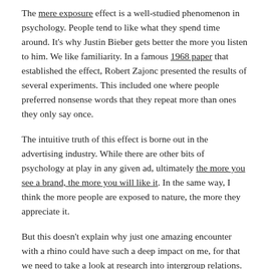The mere exposure effect is a well-studied phenomenon in psychology. People tend to like what they spend time around. It's why Justin Bieber gets better the more you listen to him. We like familiarity. In a famous 1968 paper that established the effect, Robert Zajonc presented the results of several experiments. This included one where people preferred nonsense words that they repeat more than ones they only say once.
The intuitive truth of this effect is borne out in the advertising industry. While there are other bits of psychology at play in any given ad, ultimately the more you see a brand, the more you will like it. In the same way, I think the more people are exposed to nature, the more they appreciate it.
But this doesn't explain why just one amazing encounter with a rhino could have such a deep impact on me, for that we need to take a look at research into intergroup relations.